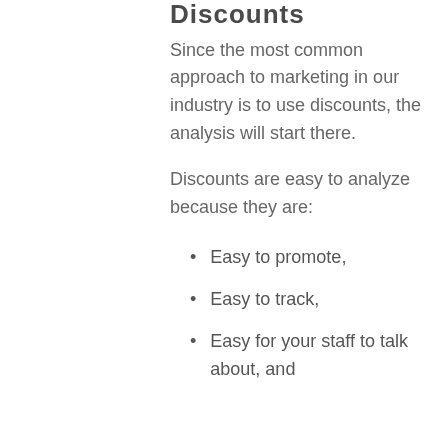Discounts
Since the most common approach to marketing in our industry is to use discounts, the analysis will start there.
Discounts are easy to analyze because they are:
Easy to promote,
Easy to track,
Easy for your staff to talk about, and